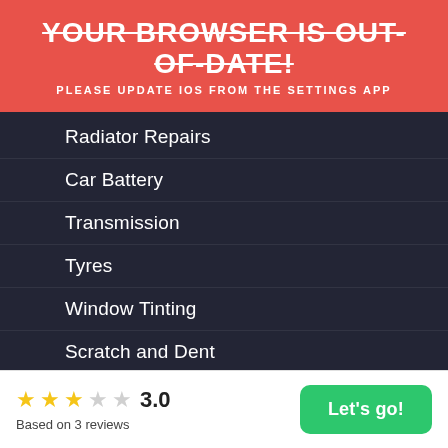YOUR BROWSER IS OUT-OF-DATE!
PLEASE UPDATE IOS FROM THE SETTINGS APP
Radiator Repairs
Car Battery
Transmission
Tyres
Window Tinting
Scratch and Dent
Car Wash Detailing
Towing
Car Parking
★★★☆☆ 3.0
Based on 3 reviews
Let's go!